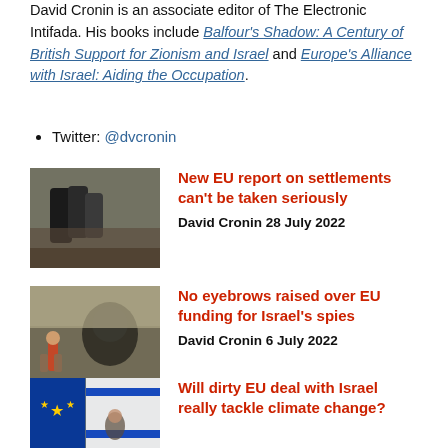David Cronin is an associate editor of The Electronic Intifada. His books include Balfour's Shadow: A Century of British Support for Zionism and Israel and Europe's Alliance with Israel: Aiding the Occupation.
Twitter: @dvcronin
[Figure (photo): Two police officers restraining a person against a stone wall]
New EU report on settlements can't be taken seriously
David Cronin 28 July 2022
[Figure (photo): A child walking past a mural of a face painted on a stone wall]
No eyebrows raised over EU funding for Israel's spies
David Cronin 6 July 2022
[Figure (photo): EU and Israeli flags]
Will dirty EU deal with Israel really tackle climate change?